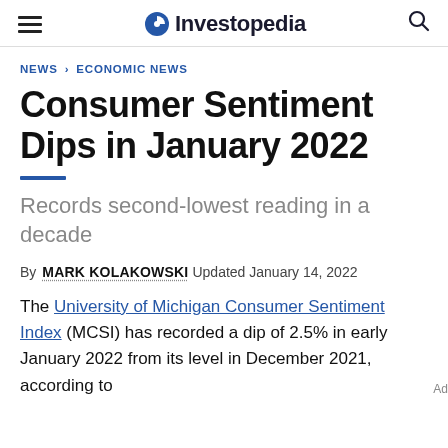Investopedia
NEWS > ECONOMIC NEWS
Consumer Sentiment Dips in January 2022
Records second-lowest reading in a decade
By MARK KOLAKOWSKI Updated January 14, 2022
The University of Michigan Consumer Sentiment Index (MCSI) has recorded a dip of 2.5% in early January 2022 from its level in December 2021, according to